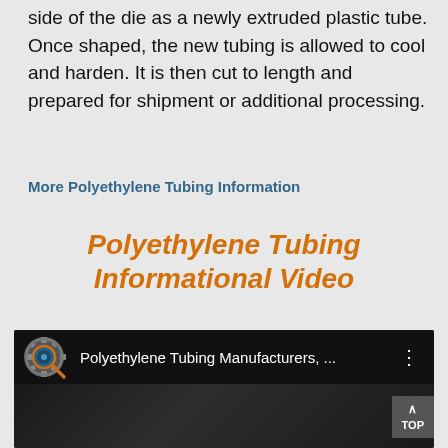side of the die as a newly extruded plastic tube. Once shaped, the new tubing is allowed to cool and harden. It is then cut to length and prepared for shipment or additional processing.
More Polyethylene Tubing Information
Polyethylene Tubing Informational Video
[Figure (screenshot): Embedded YouTube-style video player showing 'Polyethylene Tubing Manufacturers, ...' with a gear/magnifier logo icon on the left, three-dot menu on the right, and a dark video thumbnail below.]